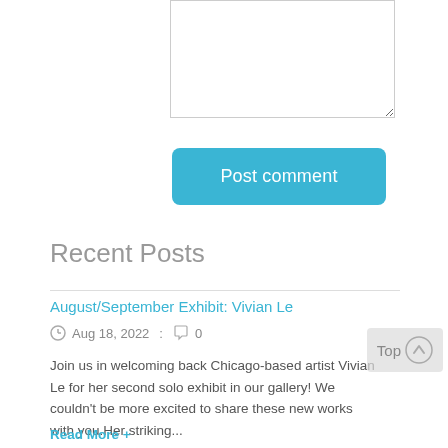[Figure (screenshot): Textarea input box (comment field), partially visible at the top of the page]
Post comment
Recent Posts
August/September Exhibit: Vivian Le
Aug 18, 2022  :  0
Join us in welcoming back Chicago-based artist Vivian Le for her second solo exhibit in our gallery! We couldn't be more excited to share these new works with you.Her striking...
Read More +